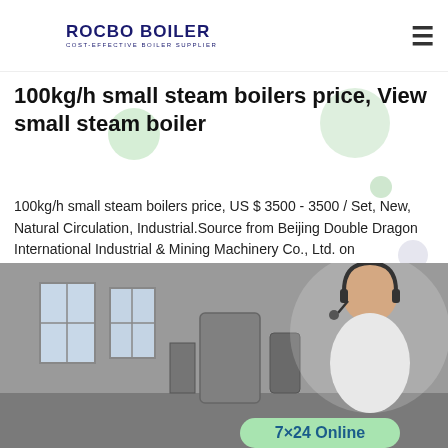ROCBO BOILER — COST-EFFECTIVE BOILER SUPPLIER
100kg/h small steam boilers price, View small steam boiler
100kg/h small steam boilers price, US $ 3500 - 3500 / Set, New, Natural Circulation, Industrial.Source from Beijing Double Dragon International Industrial & Mining Machinery Co., Ltd. on Alibaba.com.
[Figure (infographic): 10% Discount promotional badge with colorful decorative bubbles]
[Figure (photo): Industrial boiler facility interior with large windows, and a customer service representative with headset in the bottom right; '7×24 Online' badge at the bottom]